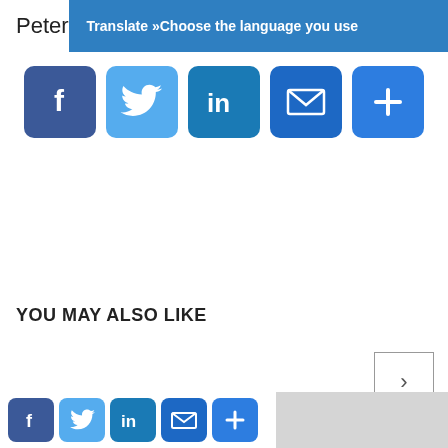Peter
Translate »Choose the language you use
[Figure (screenshot): Row of 5 social share buttons: Facebook (blue), Twitter (light blue), LinkedIn (dark blue), Email (blue envelope), Plus/More (blue)]
YOU MAY ALSO LIKE
[Figure (screenshot): Navigation arrow button pointing right (›) in a square border]
[Figure (screenshot): Bottom row with smaller social share icons (Facebook, Twitter, LinkedIn, Email, Plus) and a gray placeholder box]